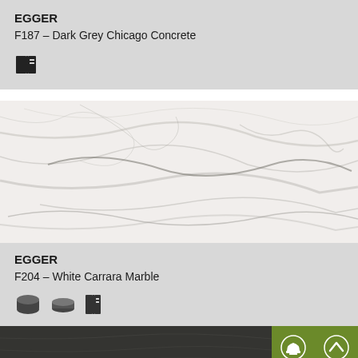EGGER
F187 – Dark Grey Chicago Concrete
[Figure (illustration): Two small product icons: a book/binder icon and a tile stack icon]
[Figure (photo): White Carrara Marble texture photo showing white surface with grey veining streaks]
EGGER
F204 – White Carrara Marble
[Figure (illustration): Three product icons: a rolled material icon, a flat sheet icon, and a tile stack icon]
[Figure (photo): Bottom strip showing dark grey concrete texture, partially visible]
[Figure (illustration): Green button bar with a helmet/safety icon and an up-arrow chevron icon]